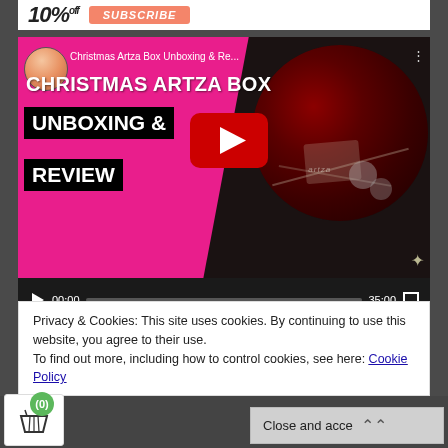[Figure (screenshot): Top banner with '10% off' text and orange Subscribe button]
[Figure (screenshot): YouTube embedded video player showing 'Christmas Artza Box Unboxing & Re...' video with thumbnail of Christmas art supplies box, play button, and controls showing 00:00 / 35:00]
Privacy & Cookies: This site uses cookies. By continuing to use this website, you agree to their use.
To find out more, including how to control cookies, see here: Cookie Policy
[Figure (screenshot): Bottom bar with shopping cart icon showing (0) badge, and 'Close and accept' button with upward chevron]